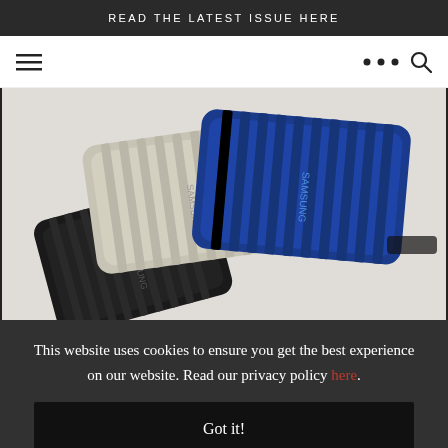READ THE LATEST ISSUE HERE
[Figure (screenshot): Navigation bar with hamburger menu icon on left and dots and search icon on right]
[Figure (photo): Three Samsung T7 Shield portable SSDs in black, beige/silver, and blue colors stacked together]
This website uses cookies to ensure you get the best experience on our website. Read our privacy policy here.
Got it!